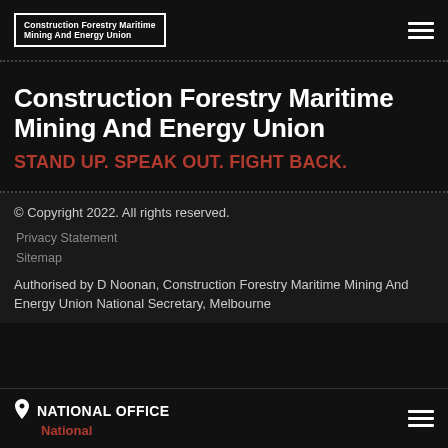Construction Forestry Maritime Mining And Energy Union
Construction Forestry Maritime Mining And Energy Union
STAND UP. SPEAK OUT. FIGHT BACK.
© Copyright 2022. All rights reserved.
Privacy Statement
Sitemap
Authorised by D Noonan, Construction Forestry Maritime Mining And Energy Union National Secretary, Melbourne
NATIONAL OFFICE National